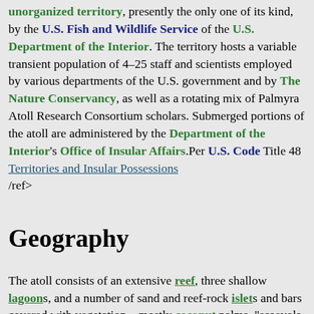unorganized territory, presently the only one of its kind, by the U.S. Fish and Wildlife Service of the U.S. Department of the Interior. The territory hosts a variable transient population of 4–25 staff and scientists employed by various departments of the U.S. government and by The Nature Conservancy, as well as a rotating mix of Palmyra Atoll Research Consortium scholars. Submerged portions of the atoll are administered by the Department of the Interior's Office of Insular Affairs.Per U.S. Code Title 48 Territories and Insular Possessions /ref>
Geography
The atoll consists of an extensive reef, three shallow lagoons, and a number of sand and reef-rock islets and bars covered with vegetation—mostly coconut palms, "scaevola (plant), scaevola", and tall "pisonia" trees.